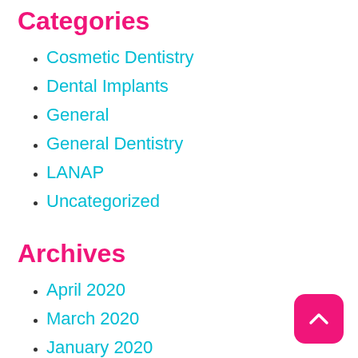Categories
Cosmetic Dentistry
Dental Implants
General
General Dentistry
LANAP
Uncategorized
Archives
April 2020
March 2020
January 2020
August 2018
July 2018
June 2018